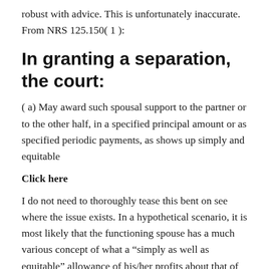robust with advice. This is unfortunately inaccurate. From NRS 125.150(1):
In granting a separation, the court:
( a) May award such spousal support to the partner or to the other half, in a specified principal amount or as specified periodic payments, as shows up simply and equitable
Click here
I do not need to thoroughly tease this bent on see where the issue exists. In a hypothetical scenario, it is most likely that the functioning spouse has a much various concept of what a “simply as well as equitable” allowance of his/her profits about that of the homeowner partner. As well as what’s to